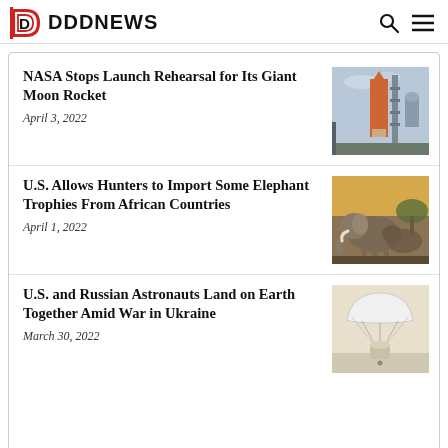DDDNEWS
NASA Stops Launch Rehearsal for Its Giant Moon Rocket
April 3, 2022
[Figure (photo): NASA rocket on launch pad with tower structure]
U.S. Allows Hunters to Import Some Elephant Trophies From African Countries
April 1, 2022
[Figure (photo): Elephants in African setting]
U.S. and Russian Astronauts Land on Earth Together Amid War in Ukraine
March 30, 2022
[Figure (photo): Astronaut parachute landing capsule on ground]